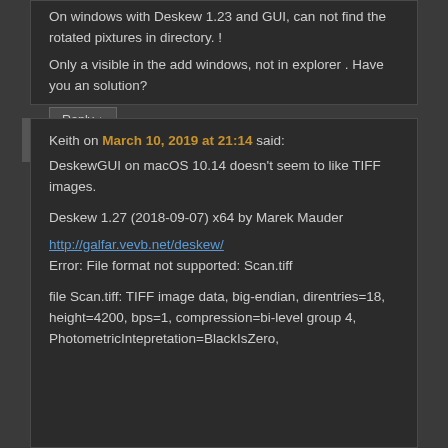On windows with Deskew 1.23 and GUI, can not find the rotated pixtures in directory. !
Only a visible in the add windows, not in explorer . Have you an solution?
Reply ↓
Keith on March 10, 2019 at 21:14 said:
DeskewGUI on macOS 10.14 doesn't seem to like TIFF images.
Deskew 1.27 (2018-09-07) x64 by Marek Mauder
http://galfar.vevb.net/deskew/
Error: File format not supported: Scan.tiff
file Scan.tiff: TIFF image data, big-endian, direntries=18, height=4200, bps=1, compression=bi-level group 4, PhotometricIntepretation=BlackIsZero,